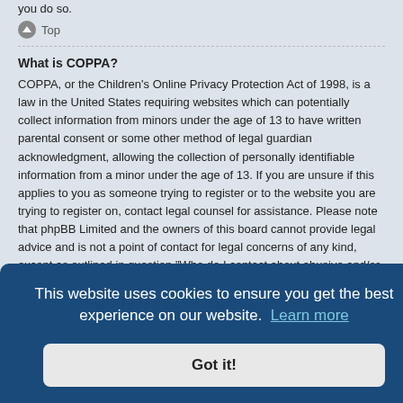you do so.
Top
What is COPPA?
COPPA, or the Children's Online Privacy Protection Act of 1998, is a law in the United States requiring websites which can potentially collect information from minors under the age of 13 to have written parental consent or some other method of legal guardian acknowledgment, allowing the collection of personally identifiable information from a minor under the age of 13. If you are unsure if this applies to you as someone trying to register or to the website you are trying to register on, contact legal counsel for assistance. Please note that phpBB Limited and the owners of this board cannot provide legal advice and is not a point of contact for legal concerns of any kind, except as outlined in question “Who do I contact about abusive and/or legal matters related to this board?”.
Top
This website uses cookies to ensure you get the best experience on our website. Learn more
Got it!